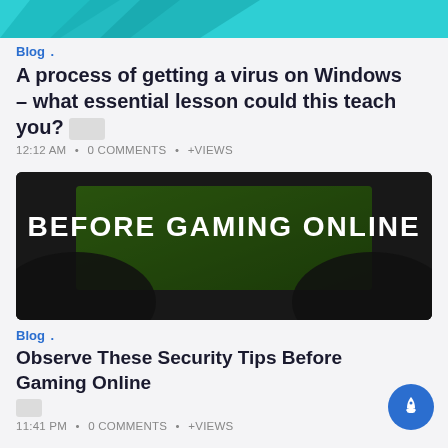[Figure (illustration): Top cropped image with teal/cyan background and dark diagonal shapes]
Blog .
A process of getting a virus on Windows – what essential lesson could this teach you?
12:12 AM • 0 COMMENTS • +VIEWS
[Figure (photo): Two people holding game controllers with a TV showing a green sports game in the background. Text overlay reads BEFORE GAMING ONLINE in large white bold letters.]
Blog .
Observe These Security Tips Before Gaming Online
11:41 PM • 0 COMMENTS • +VIEWS